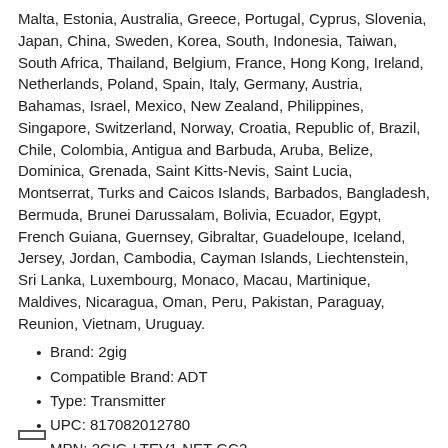Malta, Estonia, Australia, Greece, Portugal, Cyprus, Slovenia, Japan, China, Sweden, Korea, South, Indonesia, Taiwan, South Africa, Thailand, Belgium, France, Hong Kong, Ireland, Netherlands, Poland, Spain, Italy, Germany, Austria, Bahamas, Israel, Mexico, New Zealand, Philippines, Singapore, Switzerland, Norway, Croatia, Republic of, Brazil, Chile, Colombia, Antigua and Barbuda, Aruba, Belize, Dominica, Grenada, Saint Kitts-Nevis, Saint Lucia, Montserrat, Turks and Caicos Islands, Barbados, Bangladesh, Bermuda, Brunei Darussalam, Bolivia, Ecuador, Egypt, French Guiana, Guernsey, Gibraltar, Guadeloupe, Iceland, Jersey, Jordan, Cambodia, Cayman Islands, Liechtenstein, Sri Lanka, Luxembourg, Monaco, Macau, Martinique, Maldives, Nicaragua, Oman, Peru, Pakistan, Paraguay, Reunion, Vietnam, Uruguay.
Brand: 2gig
Compatible Brand: ADT
Type: Transmitter
UPC: 817082012780
MPN: 2GIG-LTEV1-NET-GC2